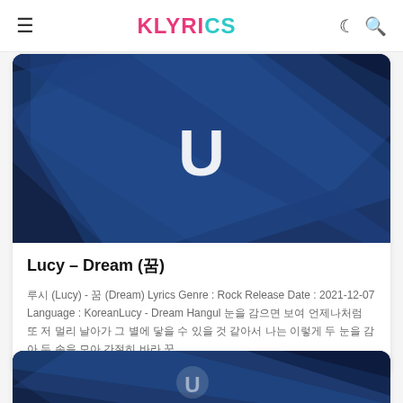KLYRICS
[Figure (photo): Album cover art with dark navy blue geometric pattern and a white letter U in the center]
Lucy – Dream (꿈)
루시 (Lucy) - 꿈 (Dream) Lyrics Genre : Rock Release Date : 2021-12-07 Language : KoreanLucy - Dream Hangul 눈을 감으면 보여 언제나처럼 또 저 멀리 날아가 그 별에 닿을 수 있을 것 같아서 나는 이렇게 두 눈을 감아 두 손을 모아 간절히 바라 꿈
[Figure (photo): Second album cover art partially visible, dark blue geometric pattern]